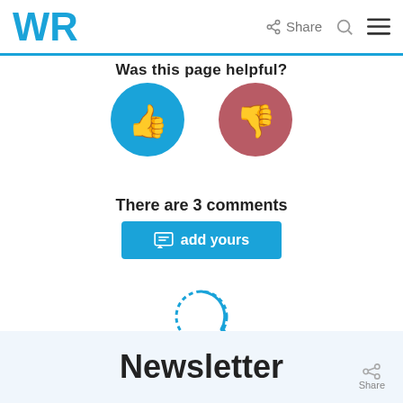WR   Share
Was this page helpful?
[Figure (illustration): Two circular buttons: blue thumbs-up button on the left, red/pink thumbs-down button on the right]
There are 3 comments
add yours
[Figure (illustration): Loading spinner circle icon in blue]
Newsletter